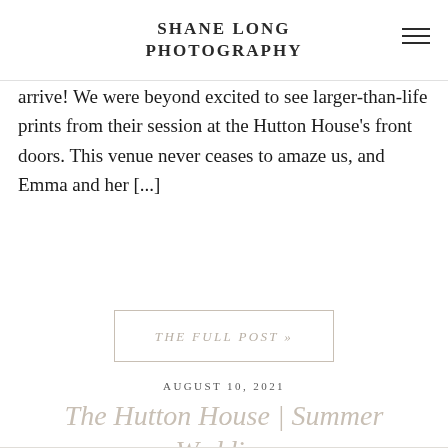SHANE LONG PHOTOGRAPHY
arrive!  We were beyond excited to see larger-than-life prints from their session at the Hutton House's front doors.  This venue never ceases to amaze us, and Emma and her [...]
THE FULL POST  »
AUGUST 10, 2021
The Hutton House | Summer Wedding